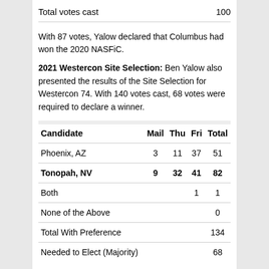| Total votes cast | 100 |
With 87 votes, Yalow declared that Columbus had won the 2020 NASFiC.
2021 Westercon Site Selection: Ben Yalow also presented the results of the Site Selection for Westercon 74. With 140 votes cast, 68 votes were required to declare a winner.
| Candidate | Mail | Thu | Fri | Total |
| --- | --- | --- | --- | --- |
| Phoenix, AZ | 3 | 11 | 37 | 51 |
| Tonopah, NV | 9 | 32 | 41 | 82 |
| Both |  |  | 1 | 1 |
| None of the Above |  |  |  | 0 |
| Total With Preference |  |  |  | 134 |
| Needed to Elect (Majority) |  |  |  | 68 |